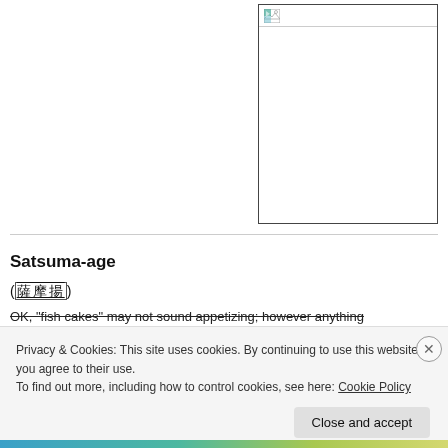[Figure (illustration): A placeholder image box with a small broken image icon in the top-left corner, bordered rectangle]
Satsuma-age
(謜謜謜謜謜謜)
OK, "fish cakes" may not sound appetizing; however anything
Privacy & Cookies: This site uses cookies. By continuing to use this website, you agree to their use.
To find out more, including how to control cookies, see here: Cookie Policy
Close and accept